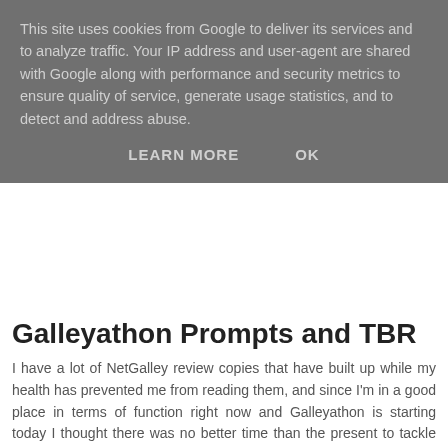This site uses cookies from Google to deliver its services and to analyze traffic. Your IP address and user-agent are shared with Google along with performance and security metrics to ensure quality of service, generate usage statistics, and to detect and address abuse.
LEARN MORE    OK
Galleyathon Prompts and TBR
I have a lot of NetGalley review copies that have built up while my health has prevented me from reading them, and since I'm in a good place in terms of function right now and Galleyathon is starting today I thought there was no better time than the present to tackle some of them!
Galleyathon also comes with a Self Care board game which sounds perfect! The board has 11 bubbles to tick off and a fantastic list of self care ideas. I plan to do one for each 50% I get to in a galley, so two per book.
[Figure (other): Purple/lavender colored bar or image at the bottom of the page]